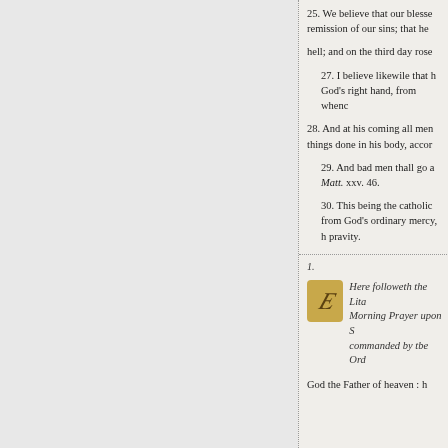25. We believe that our blesse remission of our sins; that he
hell; and on the third day rose
27. I believe likewile that h God's right hand, from whenc
28. And at his coming all men things done in his body, accor
29. And bad men thall go a Matt. xxv. 46.
30. This being the catholic from God's ordinary mercy, h pravity.
1.
[Figure (illustration): Decorated initial letter O in gold/brown style]
Here followeth the Lita Morning Prayer upon S commanded by tbe Ord
God the Father of heaven : h